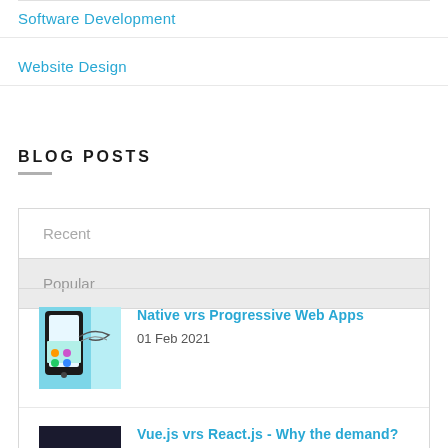Software Development
Website Design
BLOG POSTS
Recent
Popular
Native vrs Progressive Web Apps
01 Feb 2021
Vue.js vrs React.js - Why the demand?
01 Jan 2021